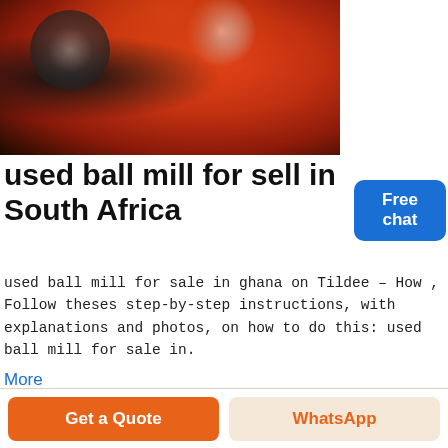[Figure (photo): Close-up photo of an orange/red ball mill machinery component with a circular hub and black rubber wheel]
used ball mill for sell in South Africa
used ball mill for sale in ghana on Tildee – How , Follow theses step-by-step instructions, with explanations and photos, on how to do this: used ball mill for sale in.
More
Get a Quote
WhatsApp